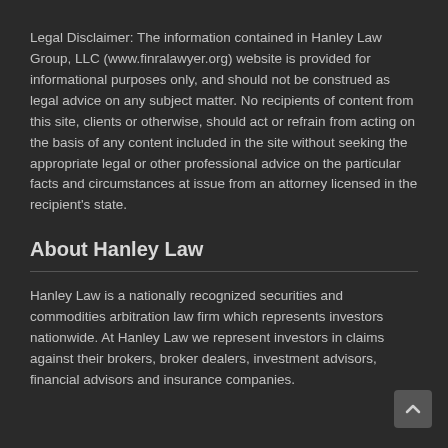Legal Disclaimer: The information contained in Hanley Law Group, LLC (www.finralawyer.org) website is provided for informational purposes only, and should not be construed as legal advice on any subject matter. No recipients of content from this site, clients or otherwise, should act or refrain from acting on the basis of any content included in the site without seeking the appropriate legal or other professional advice on the particular facts and circumstances at issue from an attorney licensed in the recipient's state.
About Hanley Law
Hanley Law is a nationally recognized securities and commodities arbitration law firm which represents investors nationwide. At Hanley Law we represent investors in claims against their brokers, broker dealers, investment advisors, financial advisors and insurance companies.